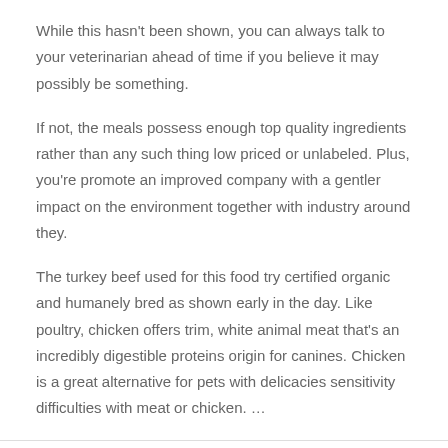While this hasn't been shown, you can always talk to your veterinarian ahead of time if you believe it may possibly be something.
If not, the meals possess enough top quality ingredients rather than any such thing low priced or unlabeled. Plus, you're promote an improved company with a gentler impact on the environment together with industry around they.
The turkey beef used for this food try certified organic and humanely bred as shown early in the day. Like poultry, chicken offers trim, white animal meat that's an incredibly digestible proteins origin for canines. Chicken is a great alternative for pets with delicacies sensitivity difficulties with meat or chicken. …
Read More »